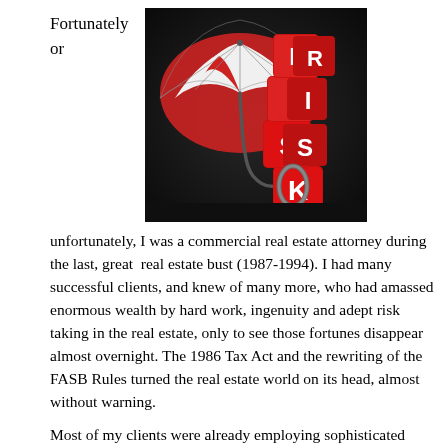Fortunately or
[Figure (photo): A red and white umbrella leaning against stacked red dice spelling out RISK on a dark background, with a carabiner clip visible.]
unfortunately, I was a commercial real estate attorney during the last, great real estate bust (1987-1994). I had many successful clients, and knew of many more, who had amassed enormous wealth by hard work, ingenuity and adept risk taking in the real estate, only to see those fortunes disappear almost overnight. The 1986 Tax Act and the rewriting of the FASB Rules turned the real estate world on its head, almost without warning.
Most of my clients were already employing sophisticated